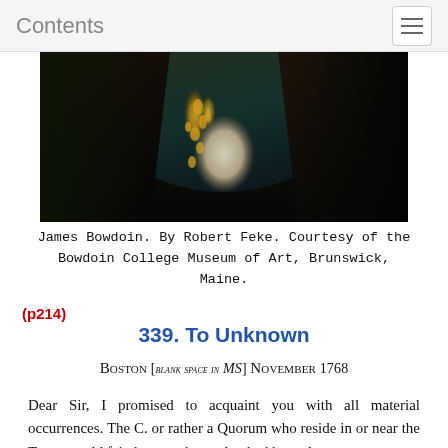Contents
[Figure (photo): Portrait painting of James Bowdoin showing ornate gold embroidery on clothing, dark background, by Robert Feke]
James Bowdoin. By Robert Feke. Courtesy of the Bowdoin College Museum of Art, Brunswick, Maine.
(p214)
339. To Unknown
Boston [blank space in MS] November 1768
Dear Sir, I promised to acquaint you with all material occurrences. The C. or rather a Quorum who reside in or near the Town would fain have undone what had been done